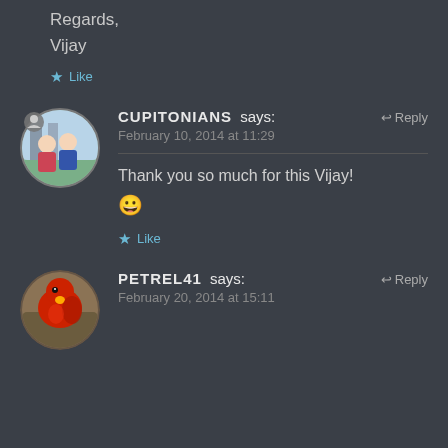Regards,
Vijay
★ Like
CUPITONIANS says:  ↩ Reply
February 10, 2014 at 11:29
Thank you so much for this Vijay! 😀
★ Like
PETREL41 says:  ↩ Reply
February 20, 2014 at 15:11